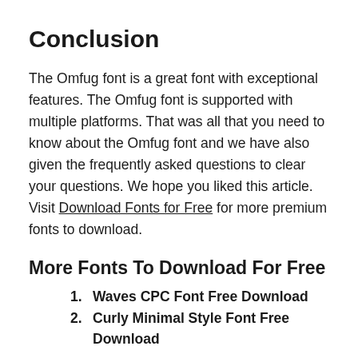Conclusion
The Omfug font is a great font with exceptional features. The Omfug font is supported with multiple platforms. That was all that you need to know about the Omfug font and we have also given the frequently asked questions to clear your questions. We hope you liked this article. Visit Download Fonts for Free for more premium fonts to download.
More Fonts To Download For Free
Waves CPC Font Free Download
Curly Minimal Style Font Free Download